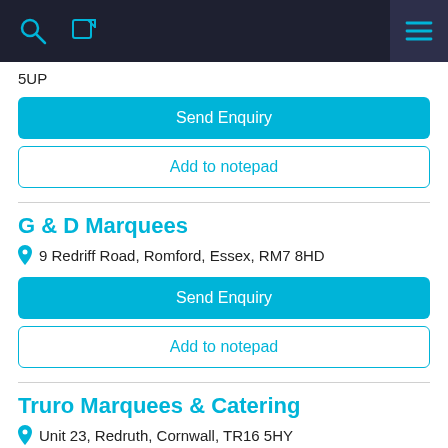5UP
Send Enquiry
Add to notepad
G & D Marquees
9 Redriff Road, Romford, Essex, RM7 8HD
Send Enquiry
Add to notepad
Truro Marquees & Catering
Unit 23, Redruth, Cornwall, TR16 5HY
Send Enquiry